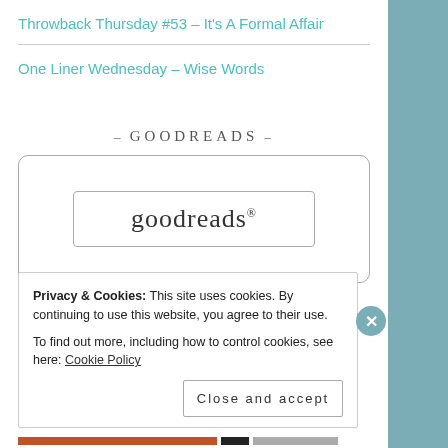Throwback Thursday #53 – It's A Formal Affair
One Liner Wednesday – Wise Words
- Goodreads -
[Figure (logo): Goodreads widget box with goodreads logo text inside a rounded rectangle border]
Privacy & Cookies: This site uses cookies. By continuing to use this website, you agree to their use. To find out more, including how to control cookies, see here: Cookie Policy
Close and accept